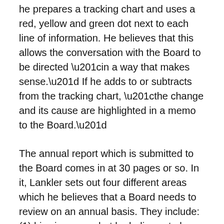he prepares a tracking chart and uses a red, yellow and green dot next to each line of information. He believes that this allows the conversation with the Board to be directed “in a way that makes sense.” If he adds to or subtracts from the tracking chart, “the change and its cause are highlighted in a memo to the Board.”
The annual report which is submitted to the Board comes in at 30 pages or so. In it, Lankler sets out four different areas which he believes that a Board needs to review on an annual basis. They include: (1) his views on what he believes to be the most significant compliance risks to the company, (2) his opinion on whether the program has sufficient resources to achieve what is necessary in managing these risks, (3) his belief on the “health of the organization from a compliance perspective”, and, finally,